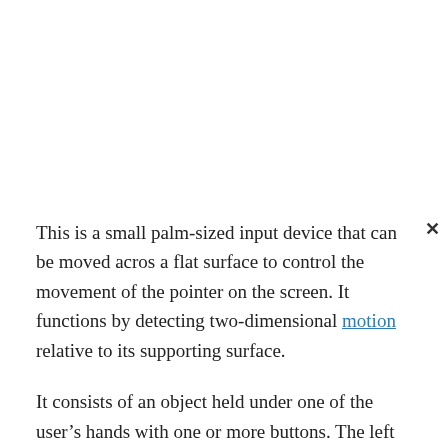This is a small palm-sized input device that can be moved acro« a flat surface to control the movement of the pointer on the screen. It functions by detecting two-dimensional motion relative to its supporting surface.
It consists of an object held under one of the user’s hands with one or more buttons. The left button which also called primary button and right button which is also known as secondary button are separated with a wheel in the middle used for quick scrolling.
SPREADSHEET